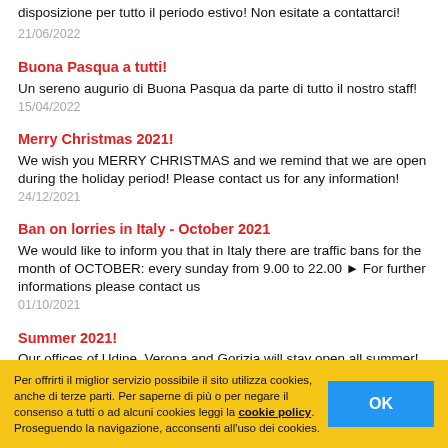disposizione per tutto il periodo estivo! Non esitate a contattarci!
21/06/2022
Buona Pasqua a tutti!
Un sereno augurio di Buona Pasqua da parte di tutto il nostro staff!
15/04/2022
Merry Christmas 2021!
We wish you MERRY CHRISTMAS and we remind that we are open during the holiday period! Please contact us for any information!
24/12/2021
Ban on lorries in Italy - October 2021
We would like to inform you that in Italy there are traffic bans for the month of OCTOBER: every sunday from 9.00 to 22.00 ► For further informations please contact us
01/10/2021
Summer 2021!
Our offices of Udine, Verona and Gorizia will stay open all summer! Please contact us for more details!
Per offrirti il miglior servizio possibile il sito utilizza cookies, anche di terze parti. Per saperne di più o per negare il consenso a tutti o ad alcuni cookies leggi la cookie policy. Proseguendo la navigazione, acconsenti all'uso dei cookies.